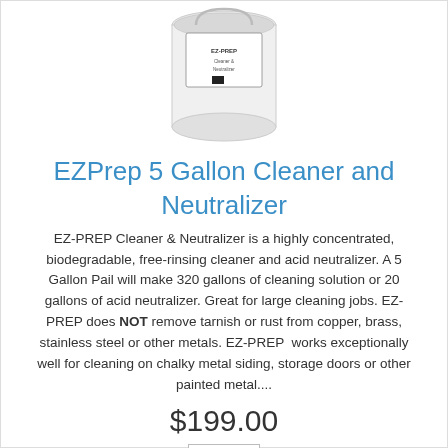[Figure (illustration): White 5-gallon pail/cylinder product image with label on it]
EZPrep 5 Gallon Cleaner and Neutralizer
EZ-PREP Cleaner & Neutralizer is a highly concentrated, biodegradable, free-rinsing cleaner and acid neutralizer. A 5 Gallon Pail will make 320 gallons of cleaning solution or 20 gallons of acid neutralizer. Great for large cleaning jobs. EZ-PREP does NOT remove tarnish or rust from copper, brass, stainless steel or other metals. EZ-PREP  works exceptionally well for cleaning on chalky metal siding, storage doors or other painted metal....
$199.00